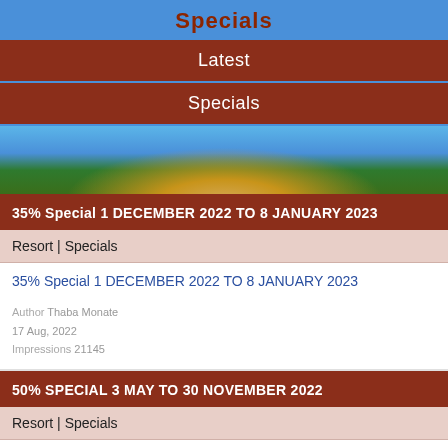Specials
Latest
Specials
[Figure (photo): Blurred outdoor photo showing a building structure with blue sky and green trees in the background.]
35% Special 1 DECEMBER 2022 TO 8 JANUARY 2023
Resort | Specials
35% Special 1 DECEMBER 2022 TO 8 JANUARY 2023
Author Thaba Monate
17 Aug, 2022
Impressions 21145
50% SPECIAL 3 MAY TO 30 NOVEMBER 2022
Resort | Specials
50% SPECIAL - 3 MAY 2022 TO 30 NOVEMBER 2022